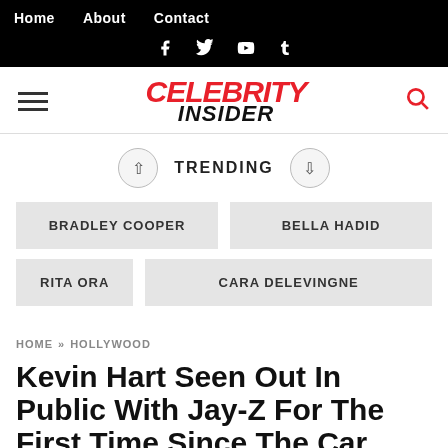Home  About  Contact
f  t  ▶  t
CELEBRITY INSIDER
TRENDING
BRADLEY COOPER  BELLA HADID  RITA ORA  CARA DELEVINGNE
HOME » HOLLYWOOD
Kevin Hart Seen Out In Public With Jay-Z For The First Time Since The Car Crash